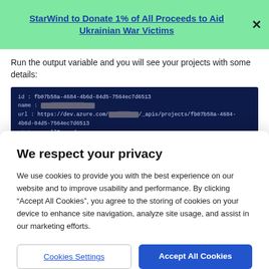StarWind to Donate 1% of All Proceeds to Aid Ukrainian War Victims
Run the output variable and you will see your projects with some details:
[Figure (screenshot): Dark blue terminal/PowerShell output showing project details with fields: id, name, url, state, revision, visibility, lastUpdateTime, and a second id entry with name partially blurred]
We respect your privacy
We use cookies to provide you with the best experience on our website and to improve usability and performance. By clicking "Accept All Cookies", you agree to the storing of cookies on your device to enhance site navigation, analyze site usage, and assist in our marketing efforts.
Cookies Settings | Accept All Cookies